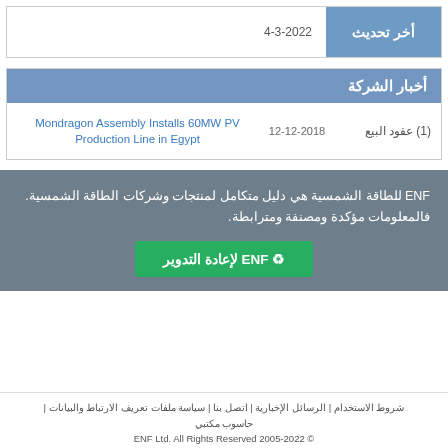أخر تحديث
4-3-2022
أخبار الشركة
| عقود البيع | التاريخ | العنوان |
| --- | --- | --- |
| (1) عقود البيع | 12-12-2018 | Mondragon Assembly Installs 60MW PV Production Line in Egypt |
ENF للطاقة الشمسية هي دليل متكامل لمنتجات وشركات الطاقة الشمسية. فالمعلومات مؤكدة ومصنفة ومترابطة.
ENF لإعادة التدوير ♻
شروط الاستخدام | الرسائل الإخبارية | اتصل بنا | سياسة ملفات تعريف الارتباط والبيانات | حاسوب مكتبي
ENF Ltd. All Rights Reserved 2005-2022 ©